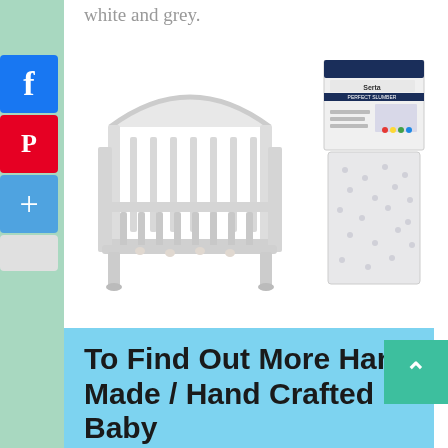white and grey.
[Figure (infographic): Social share sidebar with Facebook (blue), Pinterest (red), Google+ (blue), and share buttons]
[Figure (photo): Product images: a white baby crib on the left and a Serta Perfect Slumber mattress on the right]
To Find Out More Hand Made / Hand Crafted Baby
[Figure (infographic): Teal scroll-to-top button with upward chevron arrow]